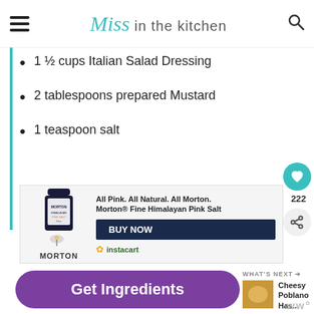Miss in the kitchen
1 ½ cups Italian Salad Dressing
2 tablespoons prepared Mustard
1 teaspoon salt
[Figure (other): Morton Fine Himalayan Pink Salt advertisement with BUY NOW button on Instacart]
Get Ingredients
Powered by chicory
WHAT'S NEXT → Cheesy Poblano Has...
[Figure (other): Advertisement: Every day, more than 50 youth age out of — Dave Thomas Foundation for Adoption]